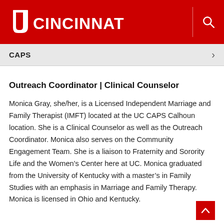[Figure (logo): University of Cincinnati logo — UC shield icon and CINCINNATI wordmark in white on red background]
CAPS
Outreach Coordinator | Clinical Counselor
Monica Gray, she/her, is a Licensed Independent Marriage and Family Therapist (IMFT) located at the UC CAPS Calhoun location. She is a Clinical Counselor as well as the Outreach Coordinator. Monica also serves on the Community Engagement Team. She is a liaison to Fraternity and Sorority Life and the Women's Center here at UC. Monica graduated from the University of Kentucky with a master's in Family Studies with an emphasis in Marriage and Family Therapy. Monica is licensed in Ohio and Kentucky.